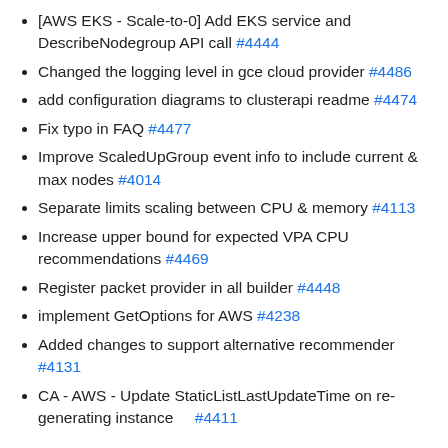[AWS EKS - Scale-to-0] Add EKS service and DescribeNodegroup API call #4444
Changed the logging level in gce cloud provider #4486
add configuration diagrams to clusterapi readme #4474
Fix typo in FAQ #4477
Improve ScaledUpGroup event info to include current & max nodes #4014
Separate limits scaling between CPU & memory #4113
Increase upper bound for expected VPA CPU recommendations #4469
Register packet provider in all builder #4448
implement GetOptions for AWS #4238
Added changes to support alternative recommender #4131
CA - AWS - Update StaticListLastUpdateTime on re-generating instance #4411